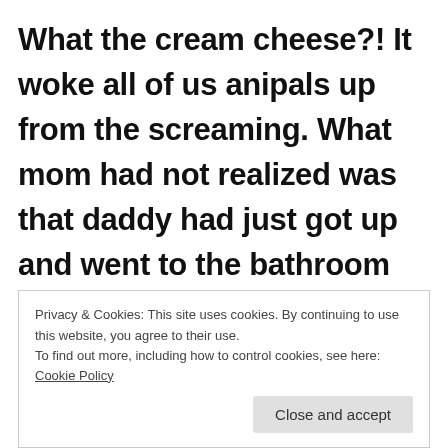What the cream cheese?!  It woke all of us anipals up from the screaming.  What mom had not realized was that daddy had just got up and went to the bathroom himself.  He also doesn't turn
Privacy & Cookies: This site uses cookies. By continuing to use this website, you agree to their use.
To find out more, including how to control cookies, see here: Cookie Policy
Close and accept